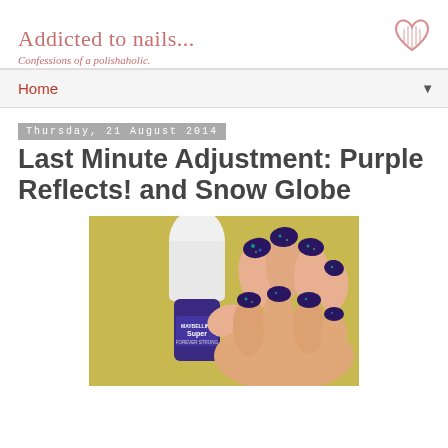Addicted to nails... Confessions of a polishaholic.
Home
Thursday, 21 August 2014
Last Minute Adjustment: Purple Reflects! and Snow Globe
[Figure (photo): Hand holding a Maybelline Forever Strong Super nail polish bottle, with dark purple glittery nails with green shimmer]